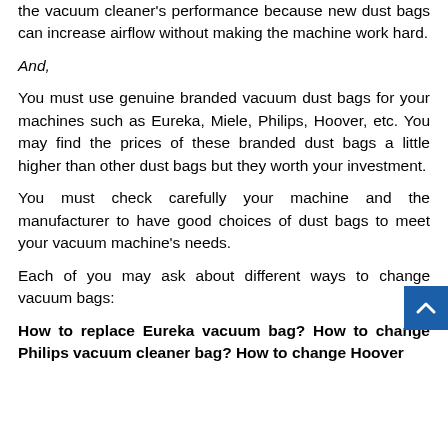the vacuum cleaner's performance because new dust bags can increase airflow without making the machine work hard.
And,
You must use genuine branded vacuum dust bags for your machines such as Eureka, Miele, Philips, Hoover, etc. You may find the prices of these branded dust bags a little higher than other dust bags but they worth your investment.
You must check carefully your machine and the manufacturer to have good choices of dust bags to meet your vacuum machine's needs.
Each of you may ask about different ways to change vacuum bags:
How to replace Eureka vacuum bag? How to change Philips vacuum cleaner bag? How to change Hoover